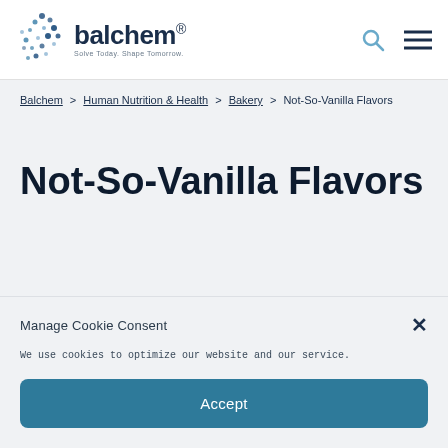balchem® — Solve Today. Shape Tomorrow.
Balchem > Human Nutrition & Health > Bakery > Not-So-Vanilla Flavors
Not-So-Vanilla Flavors
Manage Cookie Consent
We use cookies to optimize our website and our service.
Accept